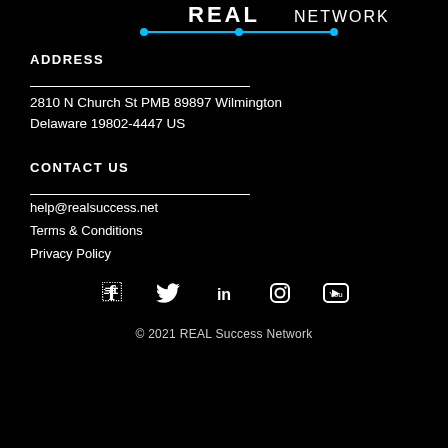[Figure (logo): REAL Network logo with white bold text and a cyan/blue horizontal line with dots underneath]
ADDRESS
2810 N Church St PMB 89897 Wilmington Delaware 19802-4447 US
CONTACT US
help@realsuccess.net
Terms & Conditions
Privacy Policy
[Figure (infographic): Row of social media icons: Facebook, Twitter, LinkedIn, Instagram, YouTube]
© 2021 REAL Success Network